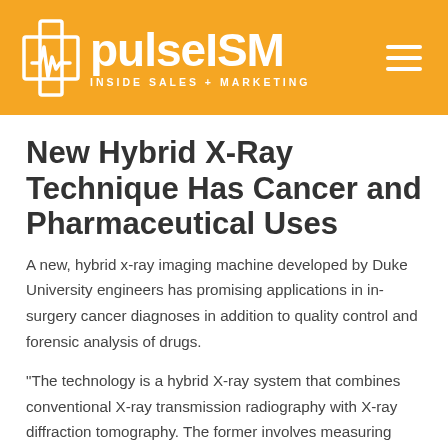pulseISM INSIDE SALES + MARKETING
New Hybrid X-Ray Technique Has Cancer and Pharmaceutical Uses
A new, hybrid x-ray imaging machine developed by Duke University engineers has promising applications in in-surgery cancer diagnoses in addition to quality control and forensic analysis of drugs.
“The technology is a hybrid X-ray system that combines conventional X-ray transmission radiography with X-ray diffraction tomography. The former involves measuring